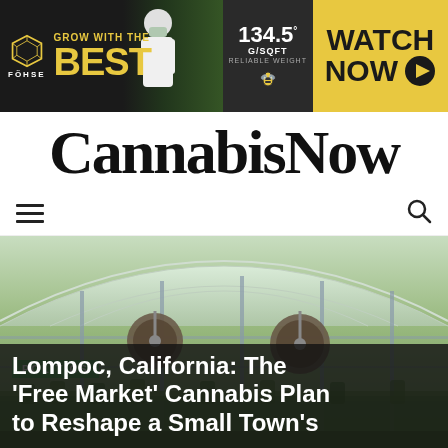[Figure (other): Fohse brand banner advertisement: 'GROW WITH THE BEST' text in yellow on dark background, person in lab coat with cannabis plants, stat showing 134.5 G/SQFT RELIABLE WEIGHT, and yellow 'WATCH NOW' button with play icon]
CannabisNow
[Figure (other): Navigation bar with hamburger menu icon on left and search icon on right]
[Figure (photo): Interior of large cannabis greenhouse facility with arched glass roof, industrial fans hanging from ceiling, rows of cannabis plants, metal frame structure]
POLITICS
Lompoc, California: The 'Free Market' Cannabis Plan to Reshape a Small Town's